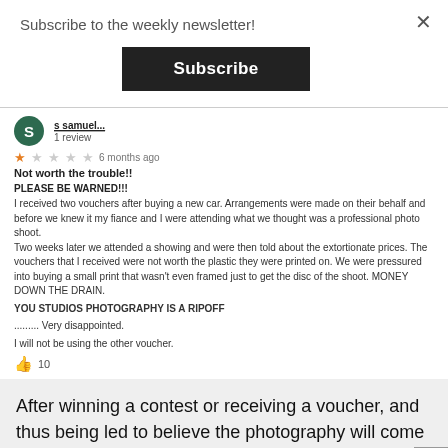Subscribe to the weekly newsletter!
[Figure (screenshot): Black Subscribe button]
[Figure (screenshot): Close (X) button for modal]
[Figure (screenshot): Reviewer avatar circle with letter S, reviewer name partially visible, 1 review, 1-star rating 6 months ago]
Not worth the trouble!!
PLEASE BE WARNED!!!
I received two vouchers after buying a new car. Arrangements were made on their behalf and before we knew it my fiance and I were attending what we thought was a professional photo shoot.
Two weeks later we attended a showing and were then told about the extortionate prices. The vouchers that I received were not worth the plastic they were printed on. We were pressured into buying a small print that wasn't even framed just to get the disc of the shoot. MONEY DOWN THE DRAIN.
YOU STUDIOS PHOTOGRAPHY IS A RIPOFF
......... Very disappointed.
I will not be using the other voucher.
👍 10
After winning a contest or receiving a voucher, and thus being led to believe the photography will come at little or no cost, the clients tend to feel duped.